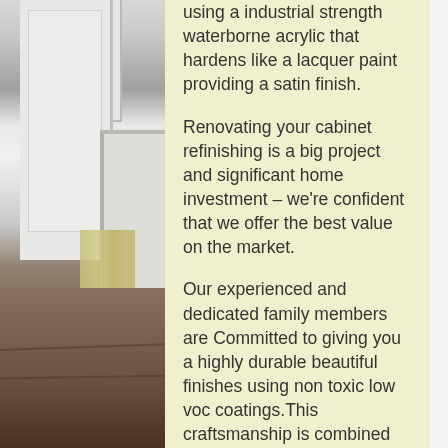[Figure (photo): Interior home photo showing white cabinets, wall trim, a floral curtain, and dark hardwood floor]
using a industrial strength waterborne acrylic that hardens like a lacquer paint providing a satin finish.
Renovating your cabinet refinishing is a big project and significant home investment – we're confident that we offer the best value on the market.
Our experienced and dedicated family members are Committed to giving you a highly durable beautiful finishes using non toxic low voc coatings.This craftsmanship is combined with a dedication to exceptional customer service. The following